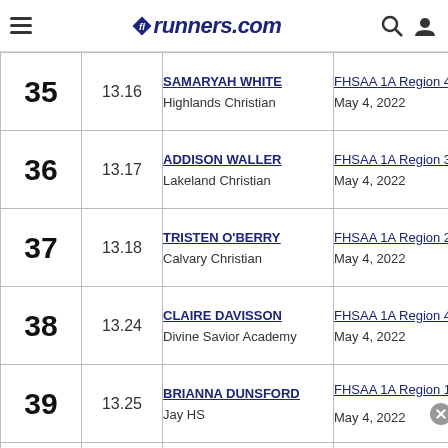flrunners.com
| Rank | Time | Athlete / School | Meet / Date |
| --- | --- | --- | --- |
| 35 | 13.16 | SAMARYAH WHITE
Highlands Christian | FHSAA 1A Region 4
May 4, 2022 |
| 36 | 13.17 | ADDISON WALLER
Lakeland Christian | FHSAA 1A Region 3
May 4, 2022 |
| 37 | 13.18 | TRISTEN O'BERRY
Calvary Christian | FHSAA 1A Region 2
May 4, 2022 |
| 38 | 13.24 | CLAIRE DAVISSON
Divine Savior Academy | FHSAA 1A Region 4
May 4, 2022 |
| 39 | 13.25 | BRIANNA DUNSFORD
Jay HS | FHSAA 1A Region 1
May 4, 2022 |
| 40 |  | EMILY EDEN | FHSAA 1A Region 2 |